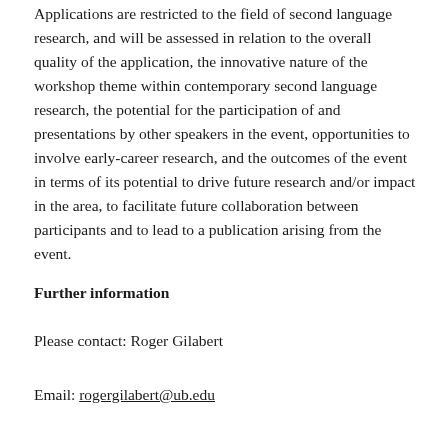Applications are restricted to the field of second language research, and will be assessed in relation to the overall quality of the application, the innovative nature of the workshop theme within contemporary second language research, the potential for the participation of and presentations by other speakers in the event, opportunities to involve early-career research, and the outcomes of the event in terms of its potential to drive future research and/or impact in the area, to facilitate future collaboration between participants and to lead to a publication arising from the event.
Further information
Please contact: Roger Gilabert
Email: rogergilabert@ub.edu